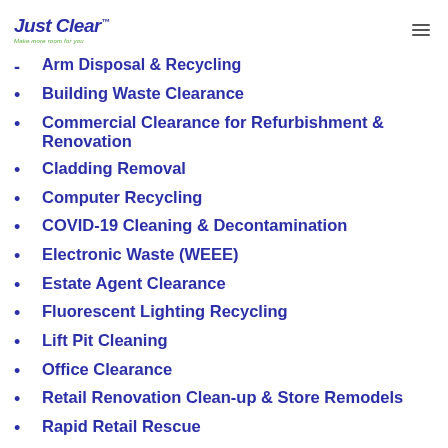Just Clear™ — Make more room for you
Arm Disposal & Recycling
Building Waste Clearance
Commercial Clearance for Refurbishment & Renovation
Cladding Removal
Computer Recycling
COVID-19 Cleaning & Decontamination
Electronic Waste (WEEE)
Estate Agent Clearance
Fluorescent Lighting Recycling
Lift Pit Cleaning
Office Clearance
Retail Renovation Clean-up & Store Remodels
Rapid Retail Rescue